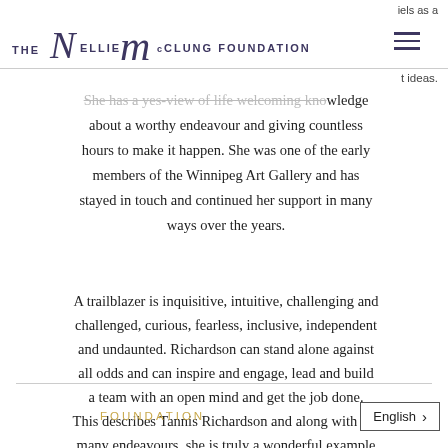iels as a
[Figure (logo): The Nellie McClung Foundation logo with stylized script lettering]
t ideas.
She has a yes-view of life welcoming knowledge about a worthy endeavour and giving countless hours to make it happen. She was one of the early members of the Winnipeg Art Gallery and has stayed in touch and continued her support in many ways over the years.
A trailblazer is inquisitive, intuitive, challenging and challenged, curious, fearless, inclusive, independent and undaunted. Richardson can stand alone against all odds and can inspire and engage, lead and build a team with an open mind and get the job done. This describes Tannis Richardson and along with her many endeavours, she is truly a wonderful example of a trailblazer.
FOUNDATION   English >